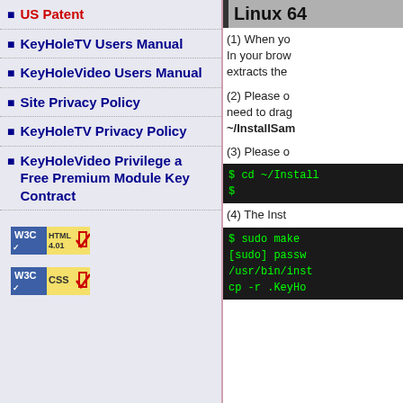US Patent
KeyHoleTV Users Manual
KeyHoleVideo Users Manual
Site Privacy Policy
KeyHoleTV Privacy Policy
KeyHoleVideo Privilege a Free Premium Module Key Contract
[Figure (logo): W3C HTML 4.01 validation badge]
[Figure (logo): W3C CSS validation badge]
Linux 64
(1) When yo In your brow extracts the
(2) Please o need to drag ~/InstallSam
(3) Please o
$ cd ~/Install $
(4) The Inst
$ sudo make [sudo] passw /usr/bin/inst cp -r .KeyHo